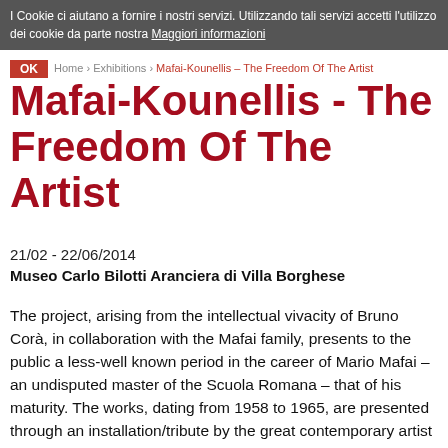I Cookie ci aiutano a fornire i nostri servizi. Utilizzando tali servizi accetti l'utilizzo dei cookie da parte nostra Maggiori informazioni
Home › Exhibitions › Mafai-Kounellis – The Freedom Of The Artist
Mafai-Kounellis - The Freedom Of The Artist
21/02 - 22/06/2014
Museo Carlo Bilotti Aranciera di Villa Borghese
The project, arising from the intellectual vivacity of Bruno Corà, in collaboration with the Mafai family, presents to the public a less-well known period in the career of Mario Mafai – an undisputed master of the Scuola Romana – that of his maturity. The works, dating from 1958 to 1965, are presented through an installation/tribute by the great contemporary artist Jannis Kounellis. The latter, who was born in 1936 and left Greece in the second half of the 50s when he was barely twenty, came to Rome to study at the Accademia di Belle Arti.